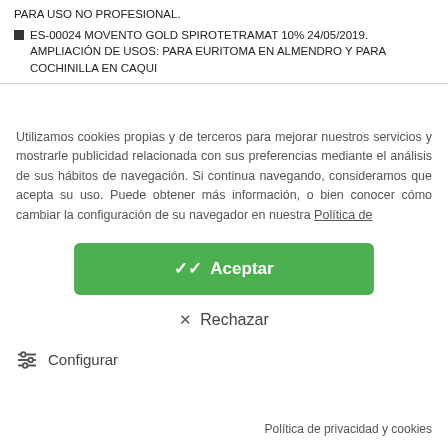PARA USO NO PROFESIONAL.
ES-00024 MOVENTO GOLD SPIROTETRAMAT 10% 24/05/2019. AMPLIACIÓN DE USOS: PARA EURITOMA EN ALMENDRO Y PARA COCHINILLA EN CAQUI
Utilizamos cookies propias y de terceros para mejorar nuestros servicios y mostrarle publicidad relacionada con sus preferencias mediante el análisis de sus hábitos de navegación. Si continua navegando, consideramos que acepta su uso. Puede obtener más información, o bien conocer cómo cambiar la configuración de su navegador en nuestra Política de
Aceptar
Rechazar
Configurar
Política de privacidad y cookies